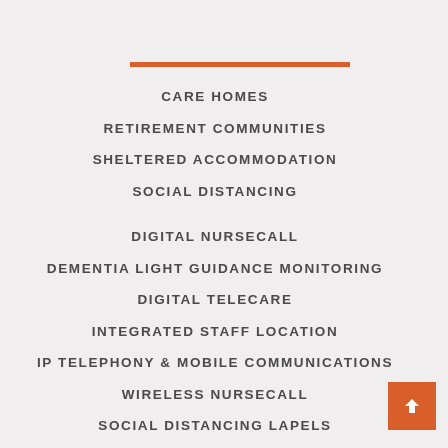CARE HOMES
RETIREMENT COMMUNITIES
SHELTERED ACCOMMODATION
SOCIAL DISTANCING
DIGITAL NURSECALL
DEMENTIA LIGHT GUIDANCE MONITORING
DIGITAL TELECARE
INTEGRATED STAFF LOCATION
IP TELEPHONY & MOBILE COMMUNICATIONS
WIRELESS NURSECALL
SOCIAL DISTANCING LAPELS
ABOUT ENS